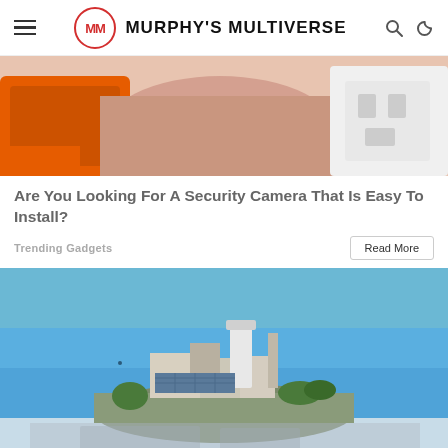Murphy's Multiverse
[Figure (photo): Close-up photo of hands with an orange phone/device and a white electrical plug/socket on a surface]
Are You Looking For A Security Camera That Is Easy To Install?
Trending Gadgets
[Figure (photo): Aerial photo of Alcatraz Island with blue ocean water surrounding it, showing the prison buildings and a lighthouse tower]